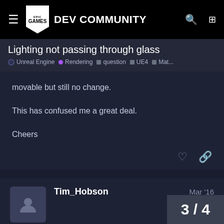EPIC GAMES DEV COMMUNITY
Lighting not passing through glass
Unreal Engine • Rendering • question • UE4 • Mat...
movable but still no change.

This has confused me a great deal.

Cheers
Tim_Hobson   Mar '16
Hi Kuuwahi,

4.10 had an issue with Translucent M
3 / 4